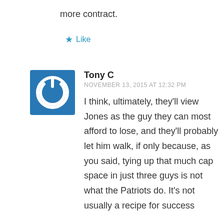more contract.
Like
Tony C
NOVEMBER 13, 2015 AT 12:32 PM
I think, ultimately, they’ll view Jones as the guy they can most afford to lose, and they’ll probably let him walk, if only because, as you said, tying up that much cap space in just three guys is not what the Patriots do. It’s not usually a recipe for success